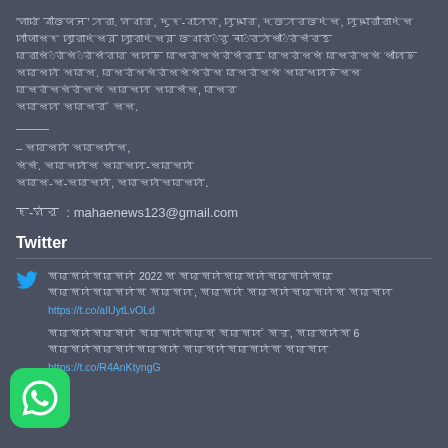'ꠝꠣꠢꠦ ꠘꠤꠃꠎꠔ' ꠀꠟꠣ. ꠝꠌꠣꠟ, ꠖꠥꠁ-ꠌꠣꠀꠝ, ꠙꠥꠍꠣꠟ, ꠖꠃꠀꠟꠃꠖꠦꠡ, ꠙꠥꠍꠣꠟꠤꠟꠣꠖꠦꠡ ꠙꠤꠎꠣꠡꠁ ꠙꠥꠣꠟꠣꠖꠦꠡꠅ ꠙꠥꠣꠟꠣꠖꠦꠡꠅ ꠃꠌꠣꠟꠦ꠆ꠟꠥ ꠛꠣ꠆ꠟꠀꠦꠡꠤ꠆ꠟꠦꠡ꠆ꠟꠐ ꠢꠟꠣꠡꠦ꠆ꠟꠦꠡꠦ꠆ꠟꠦꠡ꠆ꠟꠢ ꠡꠙꠓ. ꠢꠡꠟꠦꠡꠡꠦꠟꠦꠡꠡꠦꠡꠦꠟꠦꠡ ꠢꠡꠟꠦꠡꠡꠦ ꠡꠢꠡꠙꠓꠦꠡꠡ ꠢꠡꠟꠦꠡꠡꠦꠟꠦꠡꠡꠦ ꠡꠢꠡꠙ ꠡꠢꠡ꠆ꠡ, ꠢꠡꠟ ꠡꠢꠡꠙ ꠡꠢꠡꠟ ꠦꠡꠡ.
———
– ꠡꠢꠡꠙꠦ ꠡꠢꠡꠙꠦꠡ,
ꠡꠦꠡ꠆. ꠡꠢꠡꠙꠦꠡ ꠡꠢꠡꠙ-ꠡꠢꠡꠙꠦ
ꠡꠢꠡ-ꠡ-ꠡꠢꠡꠙꠦ, ꠡꠢꠡꠙꠦꠡꠢꠡꠙꠦ.
ꠁ-ꠝꠦꠟ  : mahaenews123@gmail.com
Twitter
ꠡꠢꠡꠙꠦꠡꠢꠡꠙꠦ 2022 ꠡ ꠡꠢꠡꠙꠦꠡꠢꠡꠙꠦꠡꠢꠡꠙꠦꠡꠢ ꠡꠢꠡꠙꠦꠡꠢꠡꠙꠦꠡ ꠡꠢꠡꠙ, ꠡꠢꠡꠙꠦ ꠡꠢꠡꠙꠦꠡꠢꠡꠙꠦꠡ ꠡꠢꠡꠙ https://t.co/aIUytLvOLd
ꠡꠢꠡꠙꠦꠡꠢꠡꠙꠦ ꠡꠢꠡꠙꠦꠡꠢꠡ ꠡꠢꠡꠙ ꠦꠡꠟ, ꠡꠢꠡꠙꠦꠡ 6 ꠡꠢꠡꠙꠦꠡꠢꠡꠙꠦꠡꠢꠡꠙꠦ ꠡꠢꠡꠙꠦꠡꠢꠡꠙꠦꠡ ꠡꠢꠡꠙ https://t.co/R4AnKtyngG